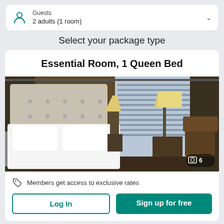Guests
2 adults (1 room)
Select your package type
Essential Room, 1 Queen Bed
[Figure (photo): Hotel room photo showing a neatly made queen bed with white linens, upholstered headboard, two floor lamps, dark wood furniture, and large windows with curtains revealing a city skyline. A photo count badge shows a camera icon and the number 6.]
Members get access to exclusive rates
Log In
Sign up for free